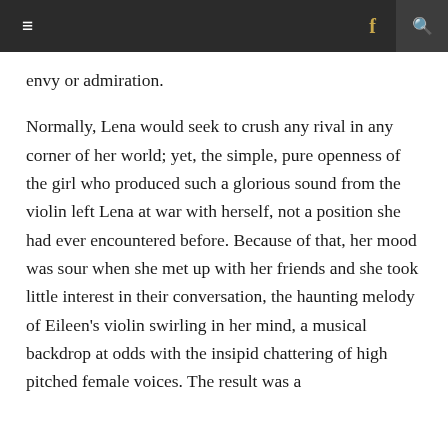≡  f  🔍
envy or admiration.
Normally, Lena would seek to crush any rival in any corner of her world; yet, the simple, pure openness of the girl who produced such a glorious sound from the violin left Lena at war with herself, not a position she had ever encountered before. Because of that, her mood was sour when she met up with her friends and she took little interest in their conversation, the haunting melody of Eileen's violin swirling in her mind, a musical backdrop at odds with the insipid chattering of high pitched female voices. The result was a